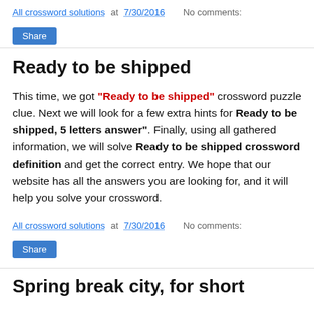All crossword solutions at 7/30/2016  No comments:
Share
Ready to be shipped
This time, we got "Ready to be shipped" crossword puzzle clue. Next we will look for a few extra hints for Ready to be shipped, 5 letters answer". Finally, using all gathered information, we will solve Ready to be shipped crossword definition and get the correct entry. We hope that our website has all the answers you are looking for, and it will help you solve your crossword.
All crossword solutions at 7/30/2016  No comments:
Share
Spring break city, for short